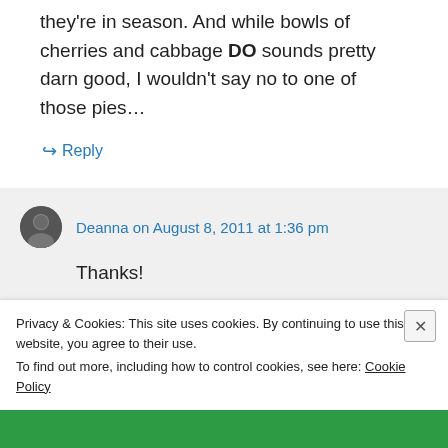they're in season. And while bowls of cherries and cabbage DO sounds pretty darn good, I wouldn't say no to one of those pies…
↪ Reply
Deanna on August 8, 2011 at 1:36 pm
Thanks!
Thankfully, there haven't been any bowls with both cherries and cabbage at the
Privacy & Cookies: This site uses cookies. By continuing to use this website, you agree to their use. To find out more, including how to control cookies, see here: Cookie Policy
Close and accept